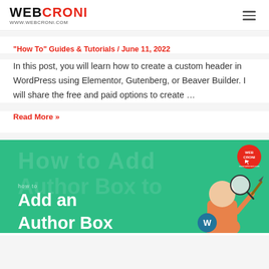WEBCRONI www.webcroni.com
"How To" Guides & Tutorials / June 11, 2022
In this post, you will learn how to create a custom header in WordPress using Elementor, Gutenberg, or Beaver Builder. I will share the free and paid options to create …
Read More »
[Figure (illustration): Green banner showing 'how to Add an Author Box' text with a cartoon person illustration and WordPress logo, plus Webcroni badge in top right corner]